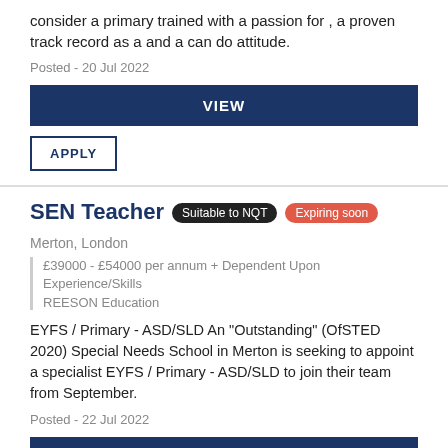consider a primary trained with a passion for , a proven track record as a and a can do attitude.
Posted - 20 Jul 2022
VIEW
APPLY
SEN Teacher
Suitable to NQT
Expiring soon
Merton, London
£39000 - £54000 per annum + Dependent Upon Experience/Skills
REESON Education
EYFS / Primary - ASD/SLD An "Outstanding" (OfSTED 2020) Special Needs School in Merton is seeking to appoint a specialist EYFS / Primary - ASD/SLD to join their team from September.
Posted - 22 Jul 2022
VIEW